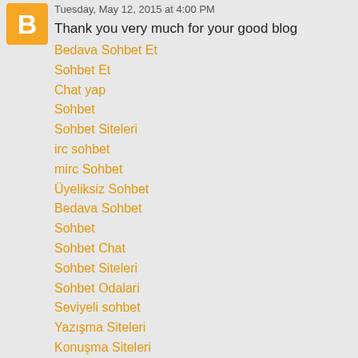[Figure (logo): Orange blogger 'B' logo icon]
Tuesday, May 12, 2015 at 4:00 PM
Thank you very much for your good blog
Bedava Sohbet Et
Sohbet Et
Chat yap
Sohbet
Sohbet Siteleri
irc sohbet
mirc Sohbet
Üyeliksiz Sohbet
Bedava Sohbet
Sohbet
Sohbet Chat
Sohbet Siteleri
Sohbet Odalari
Seviyeli sohbet
Yazışma Siteleri
Konuşma Siteleri
Yetişkin Sohbet Siteleri
Ücretsiz Chat
En Cok Kullanılan Sohbet Siteleri
irc sohbet siteleri
irc sohbet odaları